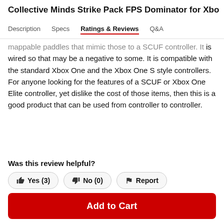Collective Minds Strike Pack FPS Dominator for Xbo
Description  Specs  Ratings & Reviews  Q&A
mappable paddles that mimic those to a SCUF controller. It is wired so that may be a negative to some. It is compatible with the standard Xbox One and the Xbox One S style controllers. For anyone looking for the features of a SCUF or Xbox One Elite controller, yet dislike the cost of those items, then this is a good product that can be used from controller to controller.
Was this review helpful?
Yes (3)
No (0)
Report
See All Customer Reviews
Add to Cart